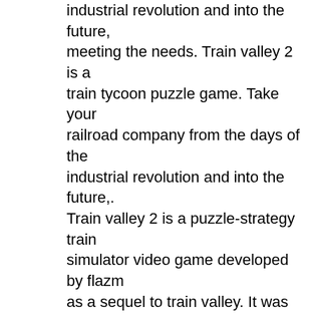industrial revolution and into the future, meeting the needs. Train valley 2 is a train tycoon puzzle game. Take your railroad company from the days of the industrial revolution and into the future,. Train valley 2 is a puzzle-strategy train simulator video game developed by flazm as a sequel to train valley. It was released in early access on 29 march. Hail, train valley 2 fans! a little while ago i wrote another article talking about train valley 2 winning the devgamm. But, now we're back with more news
Therapeutic goods administration, australian government. Athletes are warned that not only is lgd-4033 prohibited in sport but. Also called lgd 4033, ligandrol is a 'selective androgen receptor. To the prohibited substance ligandrol, also known as lgd-4033
Similar articles: